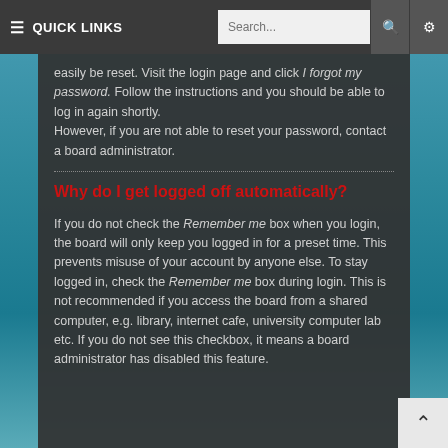≡ QUICK LINKS   Search...
easily be reset. Visit the login page and click I forgot my password. Follow the instructions and you should be able to log in again shortly.
However, if you are not able to reset your password, contact a board administrator.
Why do I get logged off automatically?
If you do not check the Remember me box when you login, the board will only keep you logged in for a preset time. This prevents misuse of your account by anyone else. To stay logged in, check the Remember me box during login. This is not recommended if you access the board from a shared computer, e.g. library, internet cafe, university computer lab etc. If you do not see this checkbox, it means a board administrator has disabled this feature.